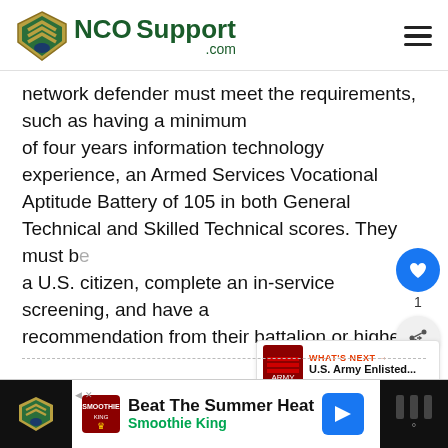NCO Support .com
network defender must meet the requirements, such as having a minimum of four years information technology experience, an Armed Services Vocational Aptitude Battery of 105 in both General Technical and Skilled Technical scores. They must be a U.S. citizen, complete an in-service screening, and have a recommendation from their battalion or higher.
[Figure (other): Advertisement banner: Beat The Summer Heat - Smoothie King]
WHAT'S NEXT → U.S. Army Enlisted...